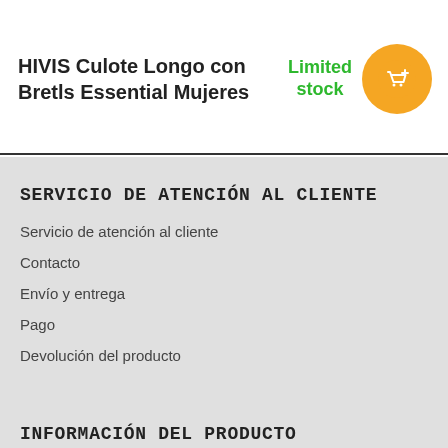HIVIS Culote Longo con Bretls Essential Mujeres
Limited stock
SERVICIO DE ATENCIÓN AL CLIENTE
Servicio de atención al cliente
Contacto
Envío y entrega
Pago
Devolución del producto
INFORMACIÓN DEL PRODUCTO